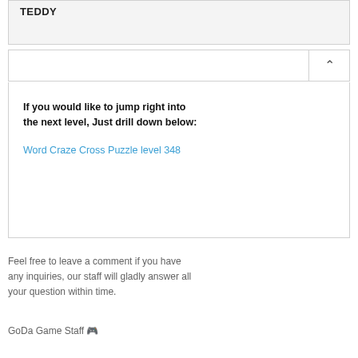TEDDY
[Figure (screenshot): Accordion UI element with collapsed header showing a chevron up arrow]
If you would like to jump right into the next level, Just drill down below: Word Craze Cross Puzzle level 348
Feel free to leave a comment if you have any inquiries, our staff will gladly answer all your question within time.
GoDa Game Staff 🎮